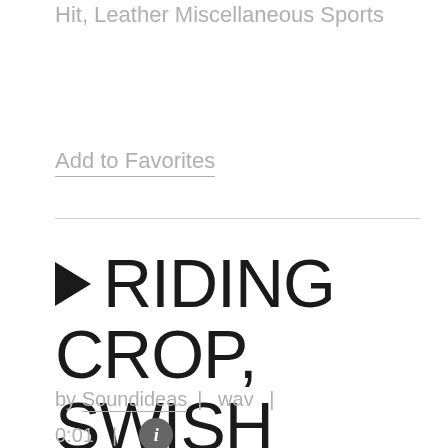Description: Riding Crop: Single Hit, Leather Miscellaneous Sports
Add to Favorites
RIDING CROP, SWISH
by Soundideas | wav | 0:01 |